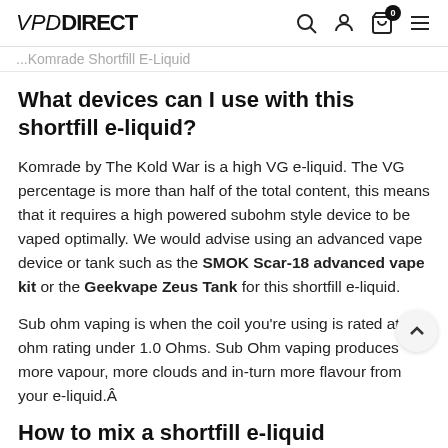VPD DIRECT
...Komrade Shortfill E-Liquid
What devices can I use with this shortfill e-liquid?
Komrade by The Kold War is a high VG e-liquid. The VG percentage is more than half of the total content, this means that it requires a high powered subohm style device to be vaped optimally. We would advise using an advanced vape device or tank such as the SMOK Scar-18 advanced vape kit or the Geekvape Zeus Tank for this shortfill e-liquid.
Sub ohm vaping is when the coil you're using is rated at an ohm rating under 1.0 Ohms. Sub Ohm vaping produces more vapour, more clouds and in-turn more flavour from your e-liquid.Â
How to mix a shortfill e-liquid